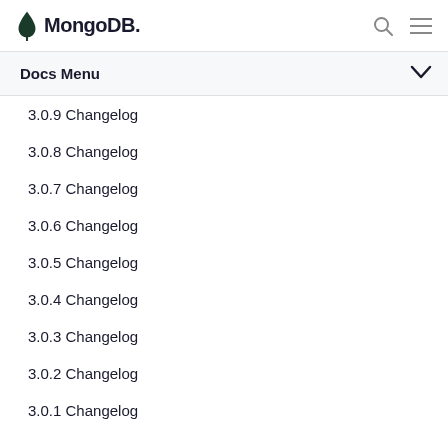MongoDB
Docs Menu
3.0.9 Changelog
3.0.8 Changelog
3.0.7 Changelog
3.0.6 Changelog
3.0.5 Changelog
3.0.4 Changelog
3.0.3 Changelog
3.0.2 Changelog
3.0.1 Changelog